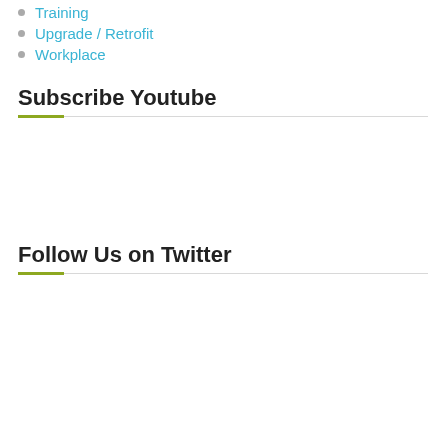Training
Upgrade / Retrofit
Workplace
Subscribe Youtube
Follow Us on Twitter